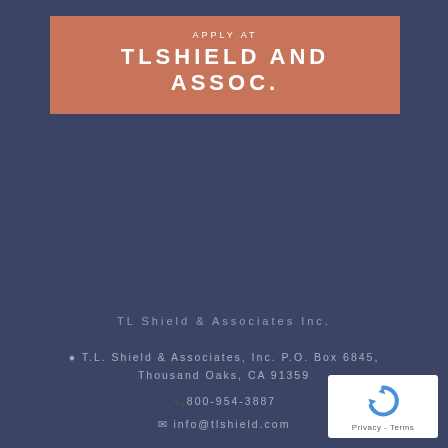APPLY AT
TLSHIELD AND ASSOC.
TL Shield & Associates Inc.
T.L. Shield & Associates, Inc. P.O. Box 6845, Thousand Oaks, CA 91359
800-954-3887
info@tlshield.com